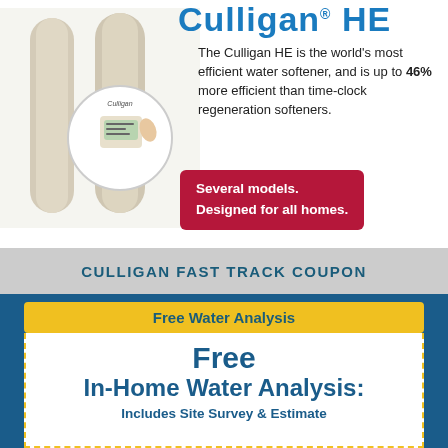Culligan HE
[Figure (photo): Culligan HE water softener product photo showing tall cylindrical tank units with a digital display control panel close-up inset]
The Culligan HE is the world's most efficient water softener, and is up to 46% more efficient than time-clock regeneration softeners.
Several models. Designed for all homes.
CULLIGAN FAST TRACK COUPON
Free Water Analysis
Free In-Home Water Analysis:
Includes Site Survey & Estimate